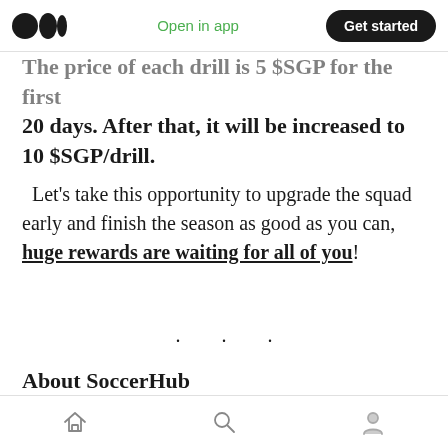Open in app | Get started
The price of each drill is 5 $SGP for the first 20 days. After that, it will be increased to 10 $SGP/drill.
Let’s take this opportunity to upgrade the squad early and finish the season as good as you can, huge rewards are waiting for all of you!
About SoccerHub
SoccerHub is the very first play-to-earn multi-player game, which is a combination of
Home | Search | Profile